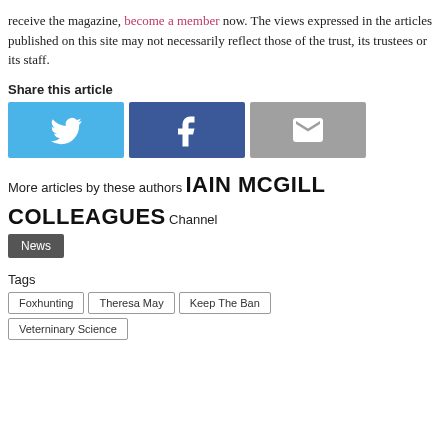receive the magazine, become a member now. The views expressed in the articles published on this site may not necessarily reflect those of the trust, its trustees or its staff.
Share this article
[Figure (infographic): Three social share buttons: Twitter (light blue), Facebook (dark blue), Email (grey)]
More articles by these authors
IAIN MCGILL
COLLEAGUES
Channel
News
Tags
Foxhunting
Theresa May
Keep The Ban
Veterninary Science